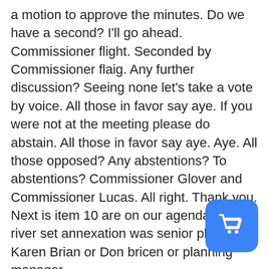a motion to approve the minutes. Do we have a second? I'll go ahead. Commissioner flight. Seconded by Commissioner flaig. Any further discussion? Seeing none let's take a vote by voice. All those in favor say aye. If you were not at the meeting please do abstain. All those in favor say aye. Aye. All those opposed? Any abstentions? To abstentions? Commissioner Glover and Commissioner Lucas. All right. Thank you. Next is item 10 are on our agenda. The river set annexation was senior planner Karen Brian or Don bricen or planning manager
24:00
condition. First, we want to just apologize that this item we had to, we were unable to complete the information to make sure it was in your pocket. So we had to work with the applicant to push this to next meeting. So it will be on your next meeting February. And so that was something that we could
[Figure (other): Blue rounded rectangle button with a white shopping cart icon, overlaid in the bottom-right corner of the page.]